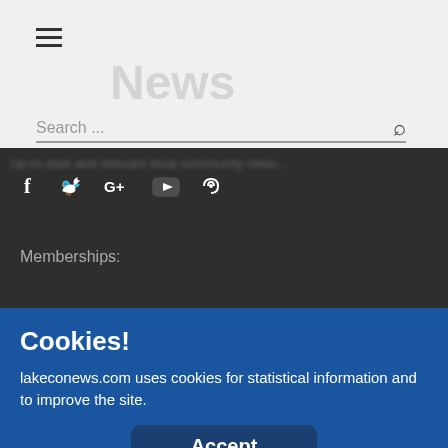News
Search ...
[Figure (screenshot): Social media icons: Facebook (f), Twitter bird, Google+, YouTube, RSS feed icons in white on dark background]
Memberships:
[Figure (logo): Row of membership logos: blue logo, eagle/mascot logo, circular blue badge with EARLA text, white square logo]
Cookies!
lakeconews.com uses cookies for statistical information and to improve the site.
Accept